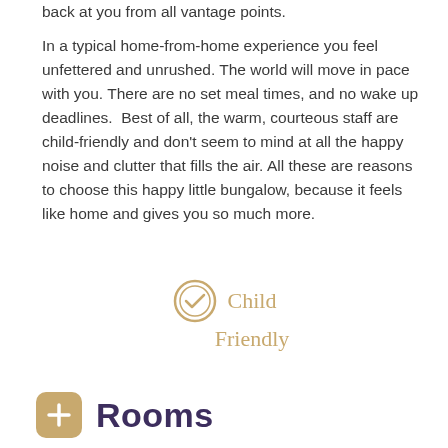back at you from all vantage points.
In a typical home-from-home experience you feel unfettered and unrushed. The world will move in pace with you. There are no set meal times, and no wake up deadlines.  Best of all, the warm, courteous staff are child-friendly and don't seem to mind at all the happy noise and clutter that fills the air. All these are reasons to choose this happy little bungalow, because it feels like home and gives you so much more.
[Figure (infographic): Gold checkmark circle icon with 'Child Friendly' text in gold serif font]
Rooms